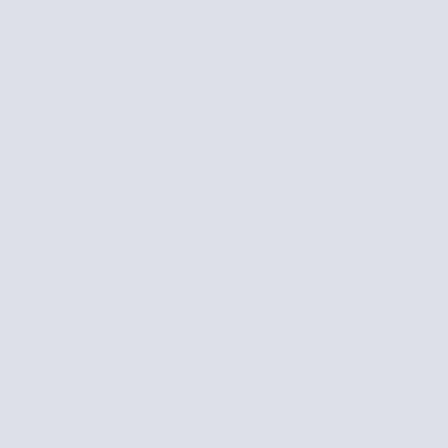From: BARILOCHENSE6999
[Figure (photo): Outdoor scene showing a robed female statue/monument on a blue pedestal base with text, a brown lighthouse/tower structure to the right with a red letter partially visible, and an 'ARTIFEX' circular logo/watermark overlay in the upper left area of the photo. Green trees and cloudy sky in background. Bottom strip shows blue water or sky.]